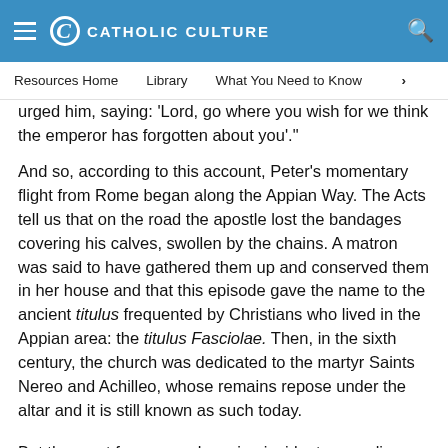CATHOLIC CULTURE
Resources Home    Library    What You Need to Know    ›
urged him, saying: 'Lord, go where you wish for we think the emperor has forgotten about you'."
And so, according to this account, Peter's momentary flight from Rome began along the Appian Way. The Acts tell us that on the road the apostle lost the bandages covering his calves, swollen by the chains. A matron was said to have gathered them up and conserved them in her house and that this episode gave the name to the ancient titulus frequented by Christians who lived in the Appian area: the titulus Fasciolae. Then, in the sixth century, the church was dedicated to the martyr Saints Nereo and Achilleo, whose remains repose under the altar and it is still known as such today.
But the most famous and moving incident, according